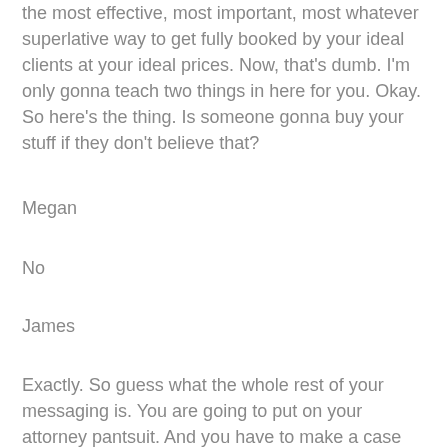the most effective, most important, most whatever superlative way to get fully booked by your ideal clients at your ideal prices. Now, that's dumb. I'm only gonna teach two things in here for you. Okay. So here's the thing. Is someone gonna buy your stuff if they don't believe that?
Megan
No
James
Exactly. So guess what the whole rest of your messaging is. You are going to put on your attorney pantsuit. And you have to make a case for this. This is your client. And you have to make a case for that statement. Everything you do, everything you say, is